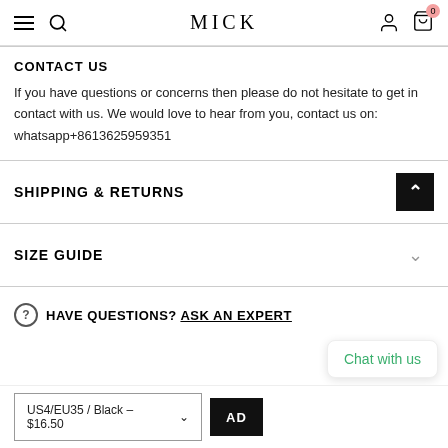MICK
CONTACT US
If you have questions or concerns then please do not hesitate to get in contact with us. We would love to hear from you, contact us on: whatsapp +8613625959351
SHIPPING & RETURNS
SIZE GUIDE
HAVE QUESTIONS? ASK AN EXPERT
US4/EU35 / Black - $16.50
Chat with us